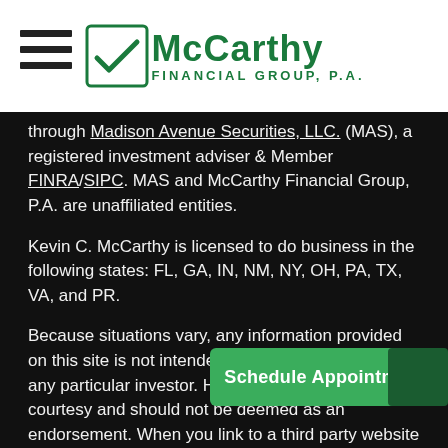McCarthy Financial Group, P.A.
through Madison Avenue Securities, LLC. (MAS), a registered investment adviser & Member FINRA/SIPC. MAS and McCarthy Financial Group, P.A. are unaffiliated entities.
Kevin C. McCarthy is licensed to do business in the following states: FL, GA, IN, NM, NY, OH, PA, TX, VA, and PR.
Because situations vary, any information provided on this site is not intended to indicate suitability for any particular investor. Hyperlinks are provided as a courtesy and should not be deemed as an endorsement. When you link to a third party website you are leaving our site and assume total responsibility on the third party sites.